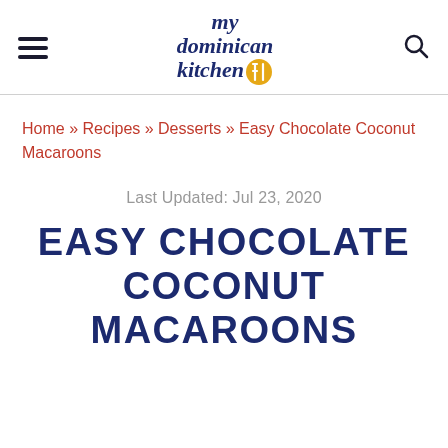my dominican kitchen
Home » Recipes » Desserts » Easy Chocolate Coconut Macaroons
Last Updated: Jul 23, 2020
EASY CHOCOLATE COCONUT MACAROONS